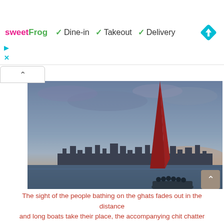[Figure (screenshot): Website ad banner showing sweetFrog logo, Dine-in, Takeout, and Delivery service options with checkmarks, and a blue navigation diamond icon on the right.]
[Figure (photo): Dusk/evening photograph of a wide river scene. In the foreground is a red fabric or sail visible. A boat with several people is visible on the water in the middle distance. The far bank shows a city skyline. The sky is overcast blue-grey with some pink/orange clouds at the horizon. Text overlay in bottom left reads 'My Yatra Diary...']
The sight of the people bathing on the ghats fades out in the distance and long boats take their place, the accompanying chit chatter